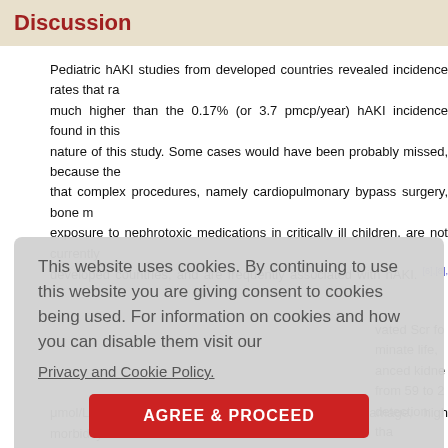Discussion
Pediatric hAKI studies from developed countries revealed incidence rates that ra… much higher than the 0.17% (or 3.7 pmcp/year) hAKI incidence found in this … nature of this study. Some cases would have been probably missed, because the… that complex procedures, namely cardiopulmonary bypass surgery, bone m… exposure to nephrotoxic medications in critically ill children, are not currently … developed countries, and are frequently associated with hAKI. [6],[8],[19],[20],[21] increased in our unit from 10 pmcp/year (1995-1999) [9] to 13.5 pmcp/year (2000…
This website uses cookies. By continuing to use this website you are giving consent to cookies being used. For information on cookies and how you can disable them visit our Privacy and Cookie Policy. AGREE & PROCEED
μmol/L) was associated with significant kidney damage, high morbidity and morta…